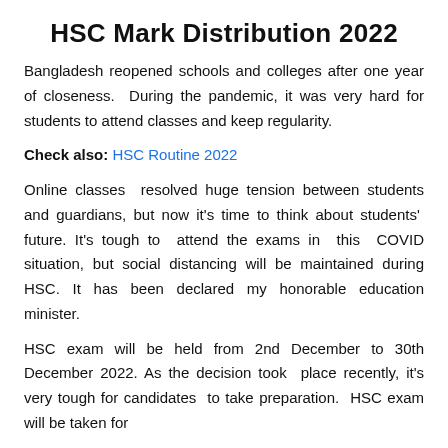HSC Mark Distribution 2022
Bangladesh reopened schools and colleges after one year of closeness. During the pandemic, it was very hard for students to attend classes and keep regularity.
Check also: HSC Routine 2022
Online classes resolved huge tension between students and guardians, but now it's time to think about students' future. It's tough to attend the exams in this COVID situation, but social distancing will be maintained during HSC. It has been declared my honorable education minister.
HSC exam will be held from 2nd December to 30th December 2022. As the decision took place recently, it's very tough for candidates to take preparation. HSC exam will be taken for 50 marks and later it will be converted into 100...